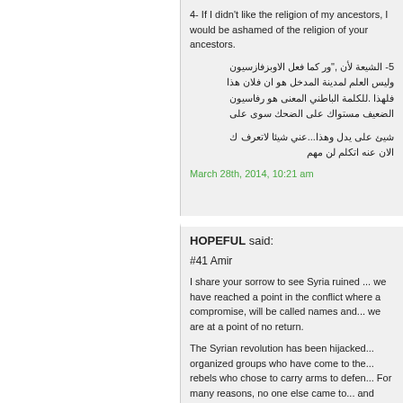4- If I didn't like the religion of my ancestors, I would be ashamed of the religion of your ancestors.
5- لأن الشيعة كما فعل الاوبزفازسيون، لأن الشيعة هو المدخل لمدينة العلم وليس رفاسيون هو المعنى الباطني للكلمة. فلهذا على سوى الضحك على مستواك الضعيف
ك لاتعرف شيئا عني...وهذا يدل على شيئ مهم لن اتكلم عنه الان
March 28th, 2014, 10:21 am
HOPEFUL said:
#41 Amir
I share your sorrow to see Syria ruined ... we have reached a point in the conflict where a compromise, will be called names and ... we are at a point of no return.
The Syrian revolution has been hijacked ... organized groups who have come to the ... rebels who chose to carry arms to defend ... For many reasons, no one else came to ... and fighting for a cause that has nothing ... regime. What Syrians wanted was digni...
The sermon in the video in the article ab... so many aspects. Most of the people sit... already dead. They will find no paradise...